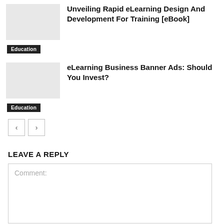Unveiling Rapid eLearning Design And Development For Training [eBook]
Education
eLearning Business Banner Ads: Should You Invest?
Education
LEAVE A REPLY
Comment: